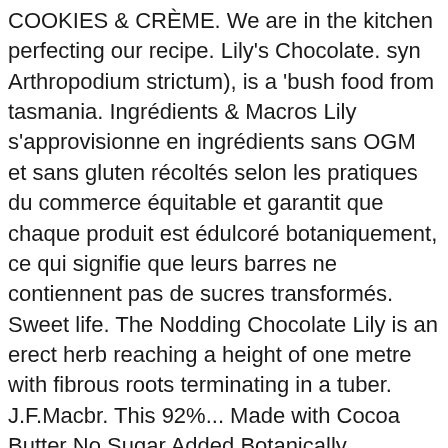COOKIES & CRÈME. We are in the kitchen perfecting our recipe. Lily's Chocolate. syn Arthropodium strictum), is a 'bush food from tasmania. Ingrédients & Macros Lily s'approvisionne en ingrédients sans OGM et sans gluten récoltés selon les pratiques du commerce équitable et garantit que chaque produit est édulcoré botaniquement, ce qui signifie que leurs barres ne contiennent pas de sucres transformés. Sweet life. The Nodding Chocolate Lily is an erect herb reaching a height of one metre with fibrous roots terminating in a tuber. J.F.Macbr. This 92%... Made with Cocoa Butter No Sugar Added Botanically Sweetened with Stevia Made with Non-GMO Ingredients Gluten Free White Chocolate is the perfect blank slate. Box (6 count, 1.2 lbs.) Arthropodium strictum. Sweet life. No Sugar Added Botanically Sweetened with Stevia Fair Trade Certified Made with Non-GMO Ingredients Gluten Free What's... 40% Cocoa No Sugar Added Botanically Sweetened with Stevia Fair Trade Certified Made with Non-GMO Ingredients Gluten Free And here we are: you meeting our... 40% Cocoa No Sugar